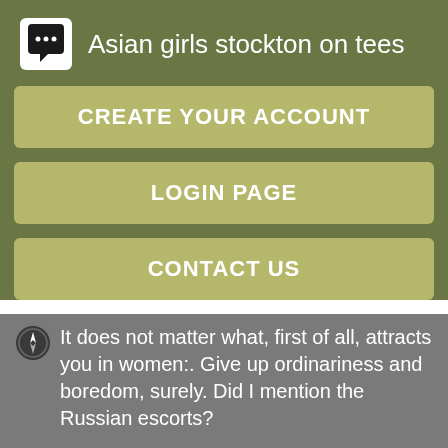Asian girls stockton on tees
CREATE YOUR ACCOUNT
LOGIN PAGE
CONTACT US
It does not matter what, first of all, attracts you in women:. Give up ordinariness and boredom, surely. Did I mention the Russian escorts?
Hottest girl available for fun Available in:. I'm very well experienced and i know what i'm doing. They will